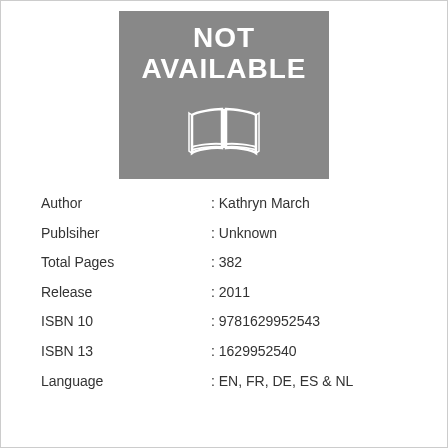[Figure (illustration): Book cover placeholder with grey background showing 'NOT AVAILABLE' text and an open book icon in white]
| Author | : Kathryn March |
| Publsiher | : Unknown |
| Total Pages | : 382 |
| Release | : 2011 |
| ISBN 10 | : 9781629952543 |
| ISBN 13 | : 1629952540 |
| Language | : EN, FR, DE, ES & NL |